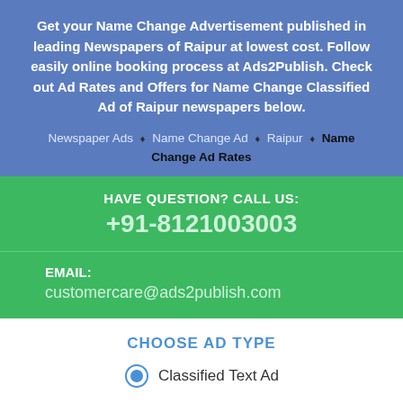Get your Name Change Advertisement published in leading Newspapers of Raipur at lowest cost. Follow easily online booking process at Ads2Publish. Check out Ad Rates and Offers for Name Change Classified Ad of Raipur newspapers below.
Newspaper Ads ♦ Name Change Ad ♦ Raipur ♦ Name Change Ad Rates
HAVE QUESTION? CALL US: +91-8121003003
EMAIL: customercare@ads2publish.com
CHOOSE AD TYPE
Classified Text Ad